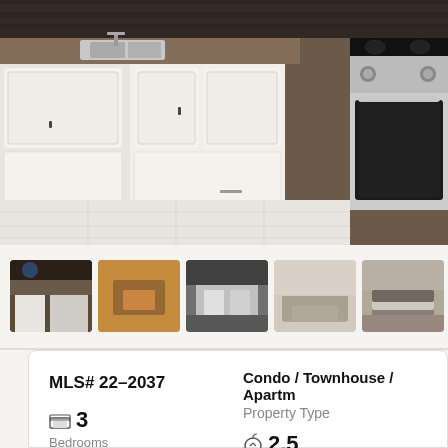[Figure (photo): Kitchen photo showing white cabinets, granite countertops, stainless steel double sink, and stainless steel electric range/oven with black glass cooktop. Dark stone tile backsplash. White tile floor partially visible.]
[Figure (photo): Thumbnail 1: Kitchen interior view similar to main photo]
[Figure (photo): Thumbnail 2: Living/dining area with warm lighting]
[Figure (photo): Thumbnail 3: Another kitchen or appliance view]
[Figure (photo): Thumbnail 4: Living room with sofa]
[Figure (photo): Thumbnail 5: Bedroom view]
MLS# 22-2037
Condo / Townhouse / Apartm
Property Type
3
Bedrooms
2.5
Bathrooms